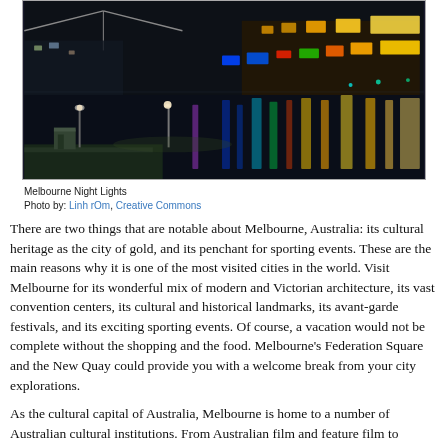[Figure (photo): Aerial night photo of Melbourne waterfront showing colorful reflections of city lights on the river, with a walkway and lamp posts in the foreground.]
Melbourne Night Lights
Photo by: Linh rOm, Creative Commons
There are two things that are notable about Melbourne, Australia: its cultural heritage as the city of gold, and its penchant for sporting events. These are the main reasons why it is one of the most visited cities in the world. Visit Melbourne for its wonderful mix of modern and Victorian architecture, its vast convention centers, its cultural and historical landmarks, its avant-garde festivals, and its exciting sporting events. Of course, a vacation would not be complete without the shopping and the food. Melbourne's Federation Square and the New Quay could provide you with a welcome break from your city explorations.
As the cultural capital of Australia, Melbourne is home to a number of Australian cultural institutions. From Australian film and feature film to television, impressionist art, and dance, Melbourne is proud to be a cultural